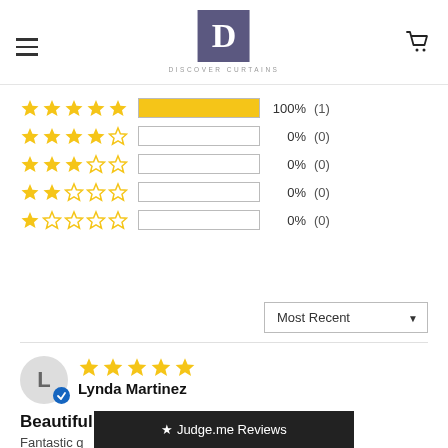[Figure (logo): Discover Curtains logo: dark purple square with white D letter, text DISCOVER CURTAINS below]
[Figure (infographic): Star rating breakdown: 5-star 100% (1), 4-star 0% (0), 3-star 0% (0), 2-star 0% (0), 1-star 0% (0)]
Most Recent ▼
[Figure (other): Reviewer avatar circle with letter L and verified badge]
Lynda Martinez
Beautiful
Fantastic q
[Figure (screenshot): Judge.me Reviews overlay banner]